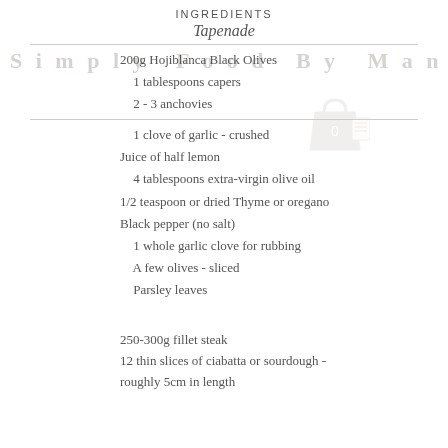INGREDIENTS
Tapenade
200g Hojiblanca Black Olives
1 tablespoons capers
2 - 3 anchovies
1 clove of garlic - crushed
Juice of half lemon
4 tablespoons extra-virgin olive oil
1/2 teaspoon or dried Thyme or oregano
Black pepper (no salt)
1 whole garlic clove for rubbing
A few olives - sliced
Parsley leaves
250-300g fillet steak
12 thin slices of ciabatta or sourdough - roughly 5cm in length